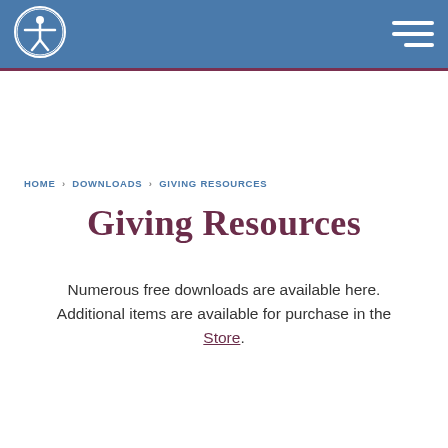[Figure (logo): Circular logo with white figure graphic on blue background, in the navigation header bar]
HOME · DOWNLOADS · GIVING RESOURCES
Giving Resources
Numerous free downloads are available here. Additional items are available for purchase in the Store.